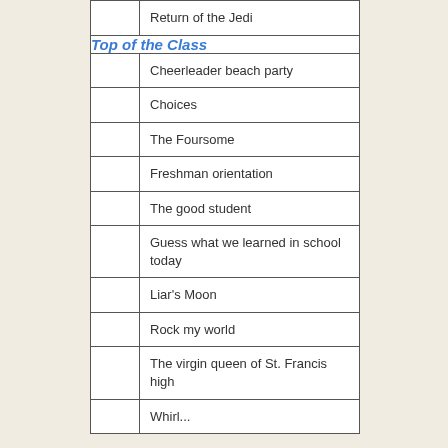|  | Title |
| --- | --- |
|  | Return of the Jedi |
| Top of the Class |  |
|  | Cheerleader beach party |
|  | Choices |
|  | The Foursome |
|  | Freshman orientation |
|  | The good student |
|  | Guess what we learned in school today |
|  | Liar's Moon |
|  | Rock my world |
|  | The virgin queen of St. Francis high |
|  | Whirl... |